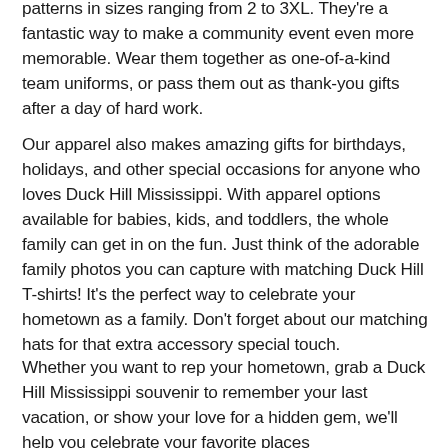patterns in sizes ranging from 2 to 3XL. They're a fantastic way to make a community event even more memorable. Wear them together as one-of-a-kind team uniforms, or pass them out as thank-you gifts after a day of hard work.
Our apparel also makes amazing gifts for birthdays, holidays, and other special occasions for anyone who loves Duck Hill Mississippi. With apparel options available for babies, kids, and toddlers, the whole family can get in on the fun. Just think of the adorable family photos you can capture with matching Duck Hill T-shirts! It's the perfect way to celebrate your hometown as a family. Don't forget about our matching hats for that extra accessory special touch.
Whether you want to rep your hometown, grab a Duck Hill Mississippi souvenir to remember your last vacation, or show your love for a hidden gem, we'll help you celebrate your favorite places